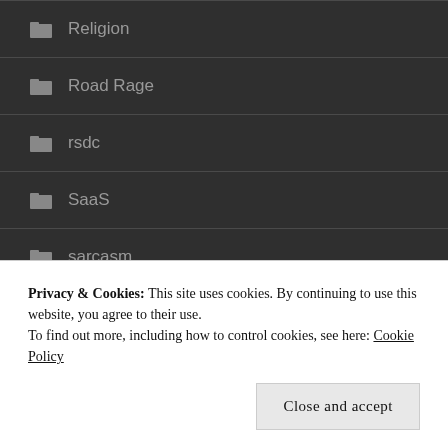Religion
Road Rage
rsdc
SaaS
sarcasm
science
self-help
Privacy & Cookies: This site uses cookies. By continuing to use this website, you agree to their use.
To find out more, including how to control cookies, see here: Cookie Policy
Close and accept